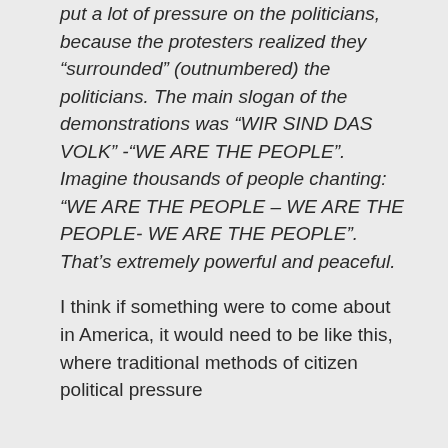put a lot of pressure on the politicians, because the protesters realized they “surrounded” (outnumbered) the politicians. The main slogan of the demonstrations was “WIR SIND DAS VOLK” -“WE ARE THE PEOPLE”. Imagine thousands of people chanting: “WE ARE THE PEOPLE – WE ARE THE PEOPLE- WE ARE THE PEOPLE”. That’s extremely powerful and peaceful.
I think if something were to come about in America, it would need to be like this, where traditional methods of citizen political pressure